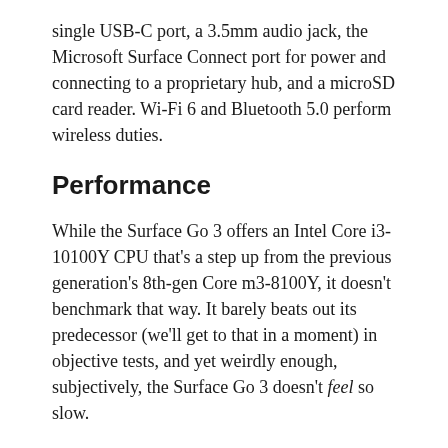single USB-C port, a 3.5mm audio jack, the Microsoft Surface Connect port for power and connecting to a proprietary hub, and a microSD card reader. Wi-Fi 6 and Bluetooth 5.0 perform wireless duties.
Performance
While the Surface Go 3 offers an Intel Core i3-10100Y CPU that's a step up from the previous generation's 8th-gen Core m3-8100Y, it doesn't benchmark that way. It barely beats out its predecessor (we'll get to that in a moment) in objective tests, and yet weirdly enough, subjectively, the Surface Go 3 doesn't feel so slow.
I haven't used the Surface Go 2, so I can't directly